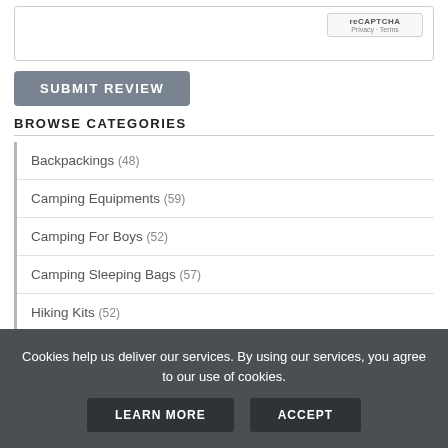[Figure (screenshot): reCAPTCHA widget with Privacy and Terms links]
[Figure (screenshot): SUBMIT REVIEW button in grey]
BROWSE CATEGORIES
Backpackings (48)
Camping Equipments (59)
Camping For Boys (52)
Camping Sleeping Bags (57)
Hiking Kits (...)
Cookies help us deliver our services. By using our services, you agree to our use of cookies.
LEARN MORE
ACCEPT